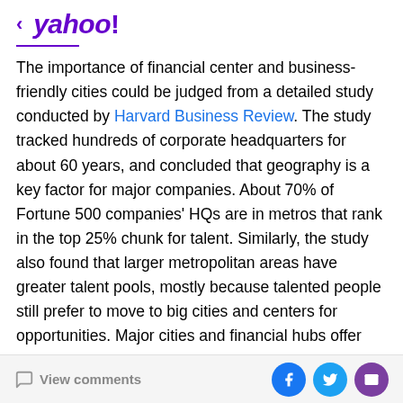< yahoo!
The importance of financial center and business-friendly cities could be judged from a detailed study conducted by Harvard Business Review. The study tracked hundreds of corporate headquarters for about 60 years, and concluded that geography is a key factor for major companies. About 70% of Fortune 500 companies' HQs are in metros that rank in the top 25% chunk for talent. Similarly, the study also found that larger metropolitan areas have greater talent pools, mostly because talented people still prefer to move to big cities and centers for opportunities. Major cities and financial hubs offer facilities like airports, malls, high-speed internet and other amenities which attract talented people. The HBR
View comments